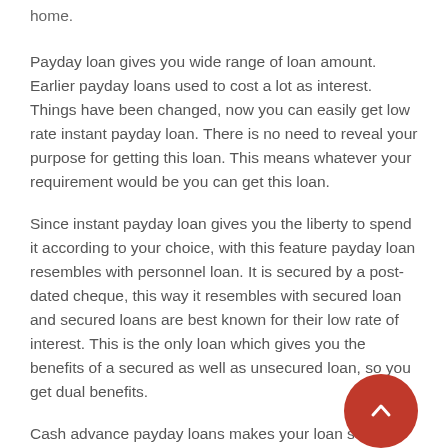home.
Payday loan gives you wide range of loan amount. Earlier payday loans used to cost a lot as interest. Things have been changed, now you can easily get low rate instant payday loan. There is no need to reveal your purpose for getting this loan. This means whatever your requirement would be you can get this loan.
Since instant payday loan gives you the liberty to spend it according to your choice, with this feature payday loan resembles with personnel loan. It is secured by a post-dated cheque, this way it resembles with secured loan and secured loans are best known for their low rate of interest. This is the only loan which gives you the benefits of a secured as well as unsecured loan, so you get dual benefits.
Cash advance payday loans makes your loan search easier. Applying through us is just like appointing a financial expert between you and the lender. For borrowers our services are available free of cost. We can arrange better deal when you compare it in terms of rate of interest as well as comparing the